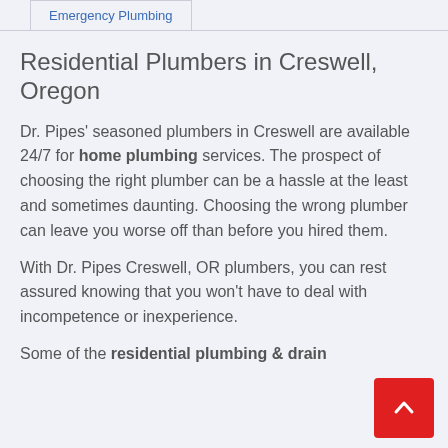Emergency Plumbing
Residential Plumbers in Creswell, Oregon
Dr. Pipes' seasoned plumbers in Creswell are available 24/7 for home plumbing services. The prospect of choosing the right plumber can be a hassle at the least and sometimes daunting. Choosing the wrong plumber can leave you worse off than before you hired them.
With Dr. Pipes Creswell, OR plumbers, you can rest assured knowing that you won't have to deal with incompetence or inexperience.
Some of the residential plumbing & drain